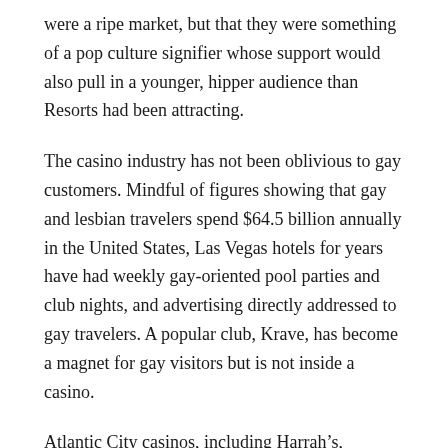were a ripe market, but that they were something of a pop culture signifier whose support would also pull in a younger, hipper audience than Resorts had been attracting.
The casino industry has not been oblivious to gay customers. Mindful of figures showing that gay and lesbian travelers spend $64.5 billion annually in the United States, Las Vegas hotels for years have had weekly gay-oriented pool parties and club nights, and advertising directly addressed to gay travelers. A popular club, Krave, has become a magnet for gay visitors but is not inside a casino.
Atlantic City casinos, including Harrah’s, Caesars, Bally’s and the Showboat Casino Hotel, have held “Out in Atlantic City” weekends in recent years, and the Trump Taj Mahal has hosted “gay bingo” nights.
Mr. Schultz and his partner, Gary Hill, each year